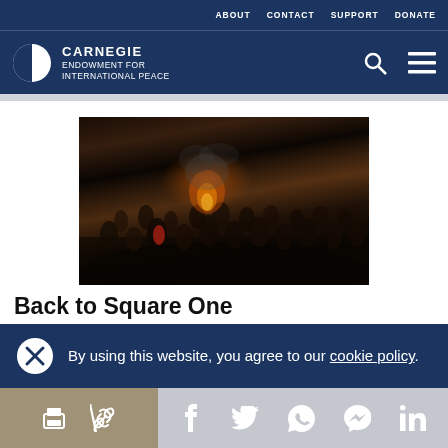ABOUT  CONTACT  SUPPORT  DONATE
[Figure (logo): Carnegie Endowment for International Peace logo with globe icon, search icon, and hamburger menu]
[Figure (photo): Nighttime crowd scene showing a large group of people with fire and smoke in the background]
Back to Square One
By using this website, you agree to our cookie policy.
Social sharing icons: print, link, Facebook, Twitter, WhatsApp, Messenger, LinkedIn